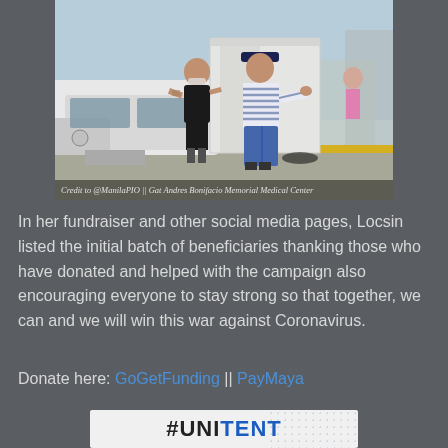[Figure (photo): Outdoor scene at Gat Andres Bonifacio Memorial Medical Center. Two people stand near a white SUV and a white medical tent. Photo credited to @ManilaPIO.]
Credit to @ManilaPIO || Gat Andres Bonifacio Memorial Medical Center
In her fundraiser and other social media pages, Locsin listed the initial batch of beneficiaries thanking those who have donated and helped with the campaign also encouraging everyone to stay strong so that together, we can and we will win this war against Coronavirus.
Donate here: GoGetFunding || PayMaya
[Figure (logo): #UNITENT logo/banner in black and blue text on white background with dot pattern]